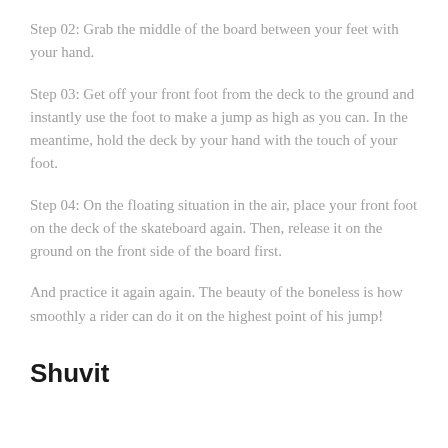Step 02: Grab the middle of the board between your feet with your hand.
Step 03: Get off your front foot from the deck to the ground and instantly use the foot to make a jump as high as you can. In the meantime, hold the deck by your hand with the touch of your foot.
Step 04: On the floating situation in the air, place your front foot on the deck of the skateboard again. Then, release it on the ground on the front side of the board first.
And practice it again again. The beauty of the boneless is how smoothly a rider can do it on the highest point of his jump!
Shuvit